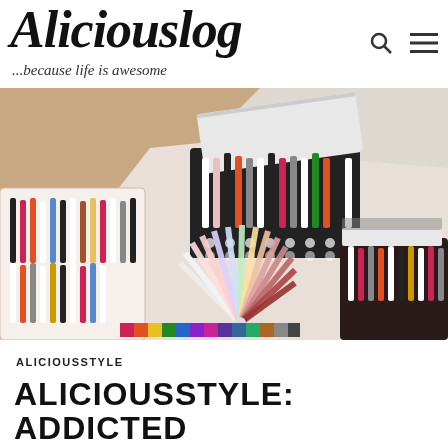Aliciouslog ...because life is awesome
[Figure (photo): Overhead view of multiple boxes filled with nail polish bottles in various colors, along with a fan-shaped nail swatch display, arranged on a white surface.]
ALICIOUSSTYLE
ALICIOUSSTYLE: ADDICTED